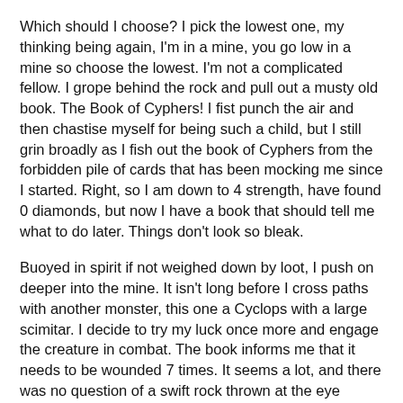Which should I choose? I pick the lowest one, my thinking being again, I'm in a mine, you go low in a mine so choose the lowest. I'm not a complicated fellow. I grope behind the rock and pull out a musty old book. The Book of Cyphers! I fist punch the air and then chastise myself for being such a child, but I still grin broadly as I fish out the book of Cyphers from the forbidden pile of cards that has been mocking me since I started. Right, so I am down to 4 strength, have found 0 diamonds, but now I have a book that should tell me what to do later. Things don't look so bleak.
Buoyed in spirit if not weighed down by loot, I push on deeper into the mine. It isn't long before I cross paths with another monster, this one a Cyclops with a large scimitar. I decide to try my luck once more and engage the creature in combat. The book informs me that it needs to be wounded 7 times. It seems a lot, and there was no question of a swift rock thrown at the eye either. I roll and roll and roll, each dice throw resulting in weapons hitting shields, sword against sword, and once, monster face against barbarian face, which I can only assume meant a harsh stare. Soon, the wounds began to flow and I had knocked the creature down to